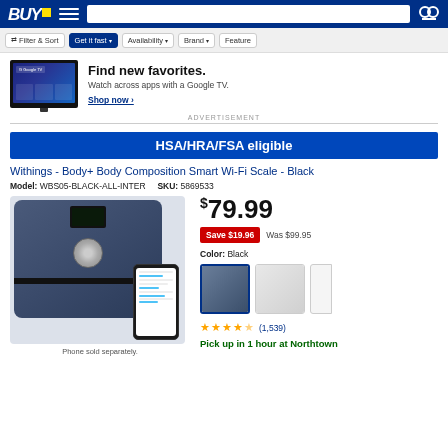Best Buy - Header with logo, search bar, and cart icon
[Figure (screenshot): Best Buy navigation filter bar with Filter & Sort, Get it fast, Availability, Brand, Feature buttons]
[Figure (photo): Google TV advertisement banner showing a TV displaying Google TV interface with text 'Find new favorites. Watch across apps with a Google TV.' and 'Shop now' link]
ADVERTISEMENT
HSA/HRA/FSA eligible
Withings - Body+ Body Composition Smart Wi-Fi Scale - Black
Model: WBS05-BLACK-ALL-INTER   SKU: 5869533
[Figure (photo): Withings Body+ smart Wi-Fi scale in black color with phone showing companion app. Phone sold separately.]
$79.99
Save $19.96   Was $99.95
Color: Black
[Figure (photo): Color swatches showing Black (selected) and White options for the Withings Body+ scale]
(1,539)
Pick up in 1 hour at Northtown